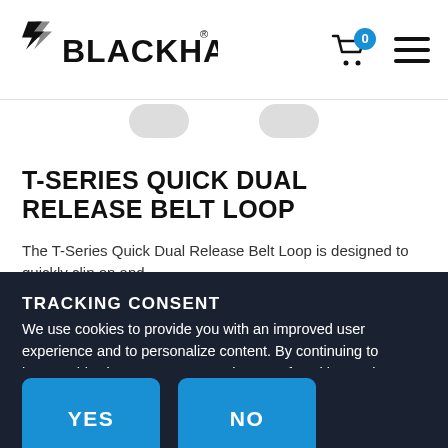BLACKHAWK logo, cart icon with badge 0, hamburger menu
T-SERIES QUICK DUAL RELEASE BELT LOOP
The T-Series Quick Dual Release Belt Loop is designed to quickly clip on and
TRACKING CONSENT
We use cookies to provide you with an improved user experience and to personalize content. By continuing to browse this site, you consent to the use of cookies. To learn more, see our Privacy Policy.
YES    NO